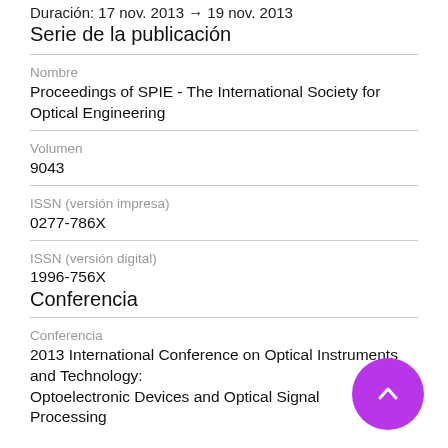Duración: 17 nov. 2013 → 19 nov. 2013
Serie de la publicación
Nombre
Proceedings of SPIE - The International Society for Optical Engineering
Volumen
9043
ISSN (versión impresa)
0277-786X
ISSN (versión digital)
1996-756X
Conferencia
Conferencia
2013 International Conference on Optical Instruments and Technology: Optoelectronic Devices and Optical Signal Processing